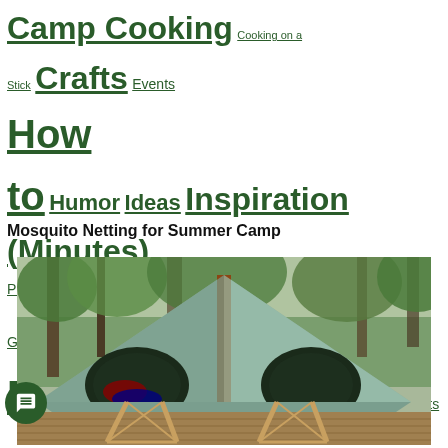Camp Cooking  Cooking on a Stick  Crafts  Events  How to  Humor  Ideas  Inspiration (Minutes)  Prayers and Graces  Projects  Puzzles  Recipes  Skits  Trail Food  Tricks and Stunts
Mosquito Netting for Summer Camp
[Figure (photo): A camp tent with green canvas, wooden support poles, mesh netting sides, sleeping cots inside visible through the open front, set on a wooden deck among trees.]